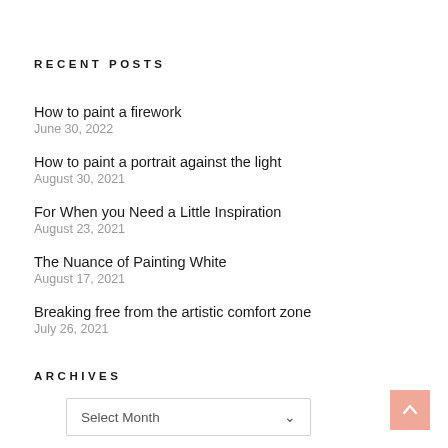RECENT POSTS
How to paint a firework
June 30, 2022
How to paint a portrait against the light
August 30, 2021
For When you Need a Little Inspiration
August 23, 2021
The Nuance of Painting White
August 17, 2021
Breaking free from the artistic comfort zone
July 26, 2021
ARCHIVES
Select Month